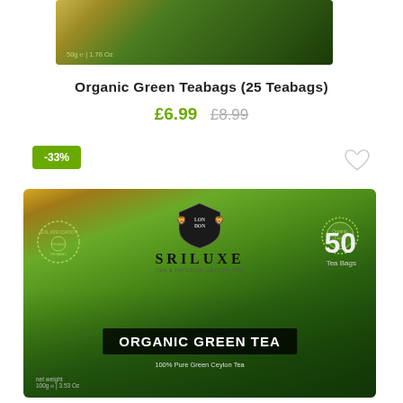[Figure (photo): Top portion of a green tea product box with text showing 50g and 1.76 Oz, green and dark packaging]
Organic Green Teabags (25 Teabags)
£6.99  £8.99
-33%
[Figure (photo): Sriluxe London Organic Green Tea box, 50 Tea Bags, 100% Pure Green Ceylon Tea, 100g / 3.53 Oz, with green mountain landscape background, organic certification badge, and coat of arms crest]